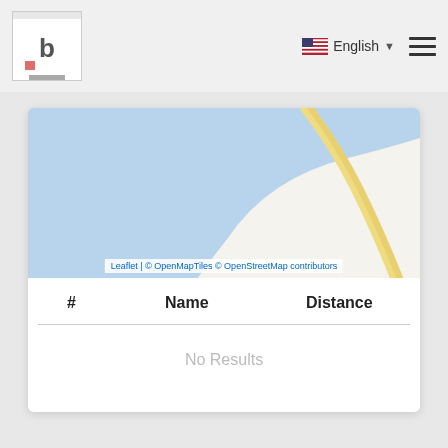[Figure (screenshot): Navigation bar with logo icon on left, English language selector with US flag and dropdown arrow in center-right, and hamburger menu icon on far right]
[Figure (map): Partial map view showing blue water/area on left and beige land with a yellow road curving on right, with Leaflet/OpenMapTiles/OpenStreetMap attribution]
| # | Name | Distance |
| --- | --- | --- |
| No Results |  |  |
No Results